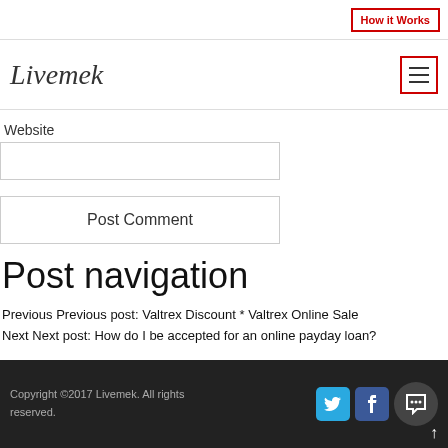How it Works
[Figure (logo): Livemek logo with hamburger menu icon]
Website
Post Comment
Post navigation
Previous Previous post: Valtrex Discount * Valtrex Online Sale
Next Next post: How do I be accepted for an online payday loan?
Copyright ©2017 Livemek. All rights reserved.